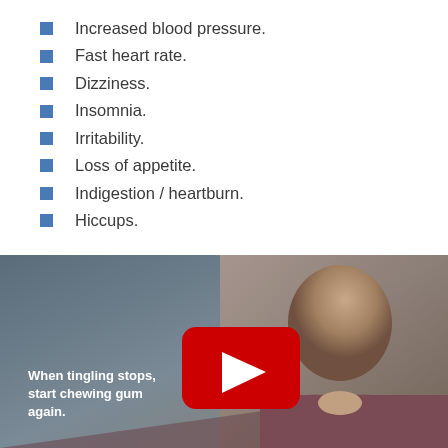Increased blood pressure.
Fast heart rate.
Dizziness.
Insomnia.
Irritability.
Loss of appetite.
Indigestion / heartburn.
Hiccups.
[Figure (screenshot): Video thumbnail showing a bald man in a dark red shirt against a grey background, with white text 'When tingling stops, start chewing gum again.' and a YouTube play button overlay.]